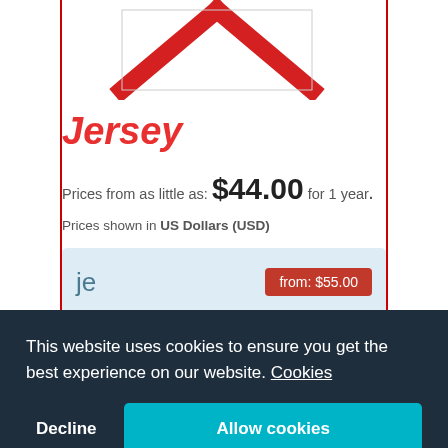[Figure (logo): Red chevron/roof logo shape at top center of page]
Jersey
Prices from as little as: $44.00 for 1 year.
Prices shown in US Dollars (USD)
je  from: $55.00
This website uses cookies to ensure you get the best experience on our website. Cookies
Decline
Allow cookies